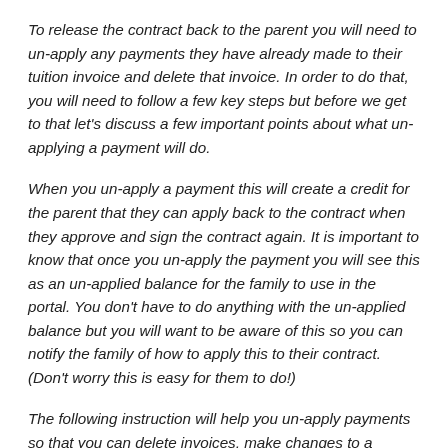To release the contract back to the parent you will need to un-apply any payments they have already made to their tuition invoice and delete that invoice. In order to do that, you will need to follow a few key steps but before we get to that let's discuss a few important points about what un-applying a payment will do.
When you un-apply a payment this will create a credit for the parent that they can apply back to the contract when they approve and sign the contract again. It is important to know that once you un-apply the payment you will see this as an un-applied balance for the family to use in the portal. You don't have to do anything with the un-applied balance but you will want to be aware of this so you can notify the family of how to apply this to their contract. (Don't worry this is easy for them to do!)
The following instruction will help you un-apply payments so that you can delete invoices, make changes to a contract, and send that contract back to the parent portal to approve...